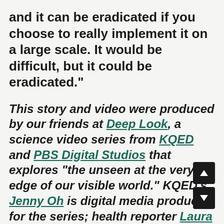and it can be eradicated if you choose to really implement it on a large scale. It would be difficult, but it could be eradicated."
This story and video were produced by our friends at Deep Look, a science video series from KQED and PBS Digital Studios that explores "the unseen at the very edge of our visible world." KQED's Jenny Oh is digital media producer for the series; health reporter Laura Klivans is the series' host. Additional reporting